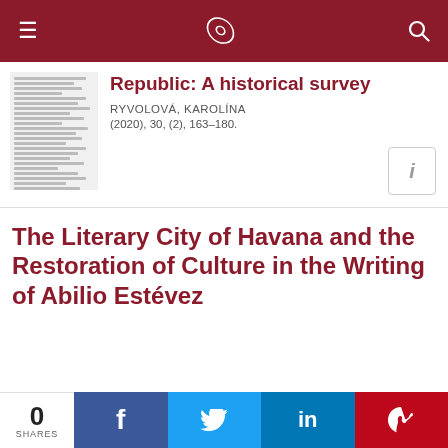navigation bar with menu, logo, search
Republic: A historical survey
RYVOLOVÁ, KAROLÍNA
(2020), 30, (2), 163–180.
The Literary City of Havana and the Restoration of Culture in the Writing of Abilio Estévez
0 SHARES  Facebook  Twitter  LinkedIn  Pinterest